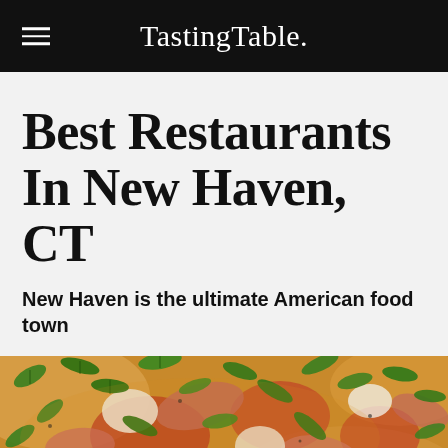Tasting Table.
Best Restaurants In New Haven, CT
New Haven is the ultimate American food town
[Figure (photo): Close-up photo of a pizza topped with arugula, prosciutto, mozzarella and tomato sauce on a wooden surface]